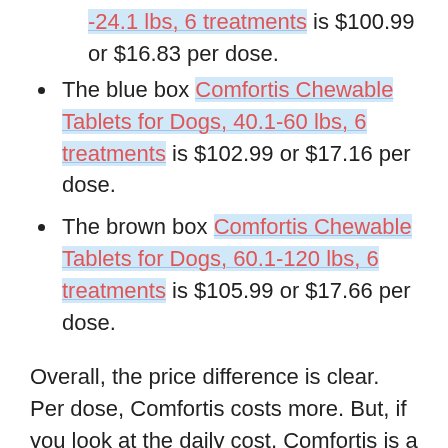-24.1 lbs, 6 treatments is $100.99 or $16.83 per dose.
The blue box Comfortis Chewable Tablets for Dogs, 40.1-60 lbs, 6 treatments is $102.99 or $17.16 per dose.
The brown box Comfortis Chewable Tablets for Dogs, 60.1-120 lbs, 6 treatments is $105.99 or $17.66 per dose.
Overall, the price difference is clear. Per dose, Comfortis costs more. But, if you look at the daily cost, Comfortis is a deal costing